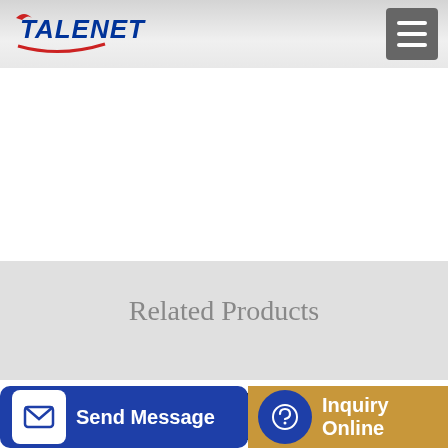TALENET
Related Products
EAST TEXAS CONCRETE PUMPING LONGVIEW TX
Portable Small JBC-55 Concrete Mixer Truck View self loading
...use b...d li...
Send Message | Inquiry Online